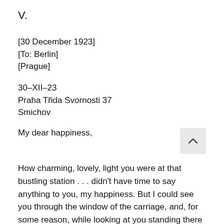V.
[30 December 1923]
[To: Berlin]
[Prague]
30–XII–23
Praha Třida Svornosti 37
Smichov
My dear happiness,
How charming, lovely, light you were at that bustling station . . . didn't have time to say anything to you, my happiness. But I could see you through the window of the carriage, and, for some reason, while looking at you standing there